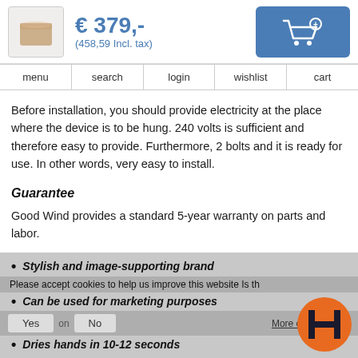€ 379,- (458,59 Incl. tax)
[Figure (photo): Product thumbnail image of a brown box/device]
[Figure (other): Add to cart button with shopping cart icon and plus sign]
menu  search  login  wishlist  cart
Before installation, you should provide electricity at the place where the device is to be hung. 240 volts is sufficient and therefore easy to provide. Furthermore, 2 bolts and it is ready for use. In other words, very easy to install.
Guarantee
Good Wind provides a standard 5-year warranty on parts and labor.
Stylish and image-supporting brand
Can be used for marketing purposes
Dries hands in 10-12 seconds
Please accept cookies to help us improve this website Is th
Yes  No  More on cookies »